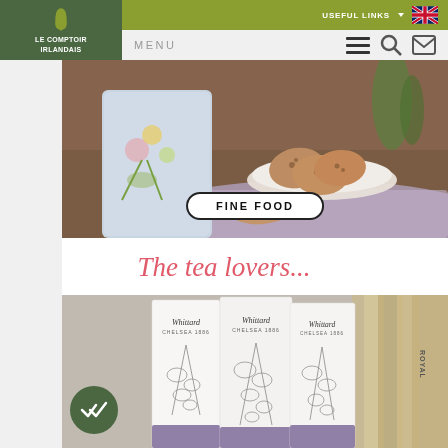[Figure (screenshot): Website header with Le Comptoir Irlandais logo on dark green background, olive green top bar with USEFUL LINKS and UK flag, and grey nav bar with MENU text and icons]
[Figure (photo): Hero banner showing biscuits/cookies on a plate next to a decorative floral tin, with a FINE FOOD button overlaid]
The tea lovers...
[Figure (photo): Photo of Whittard of Chelsea tea packages with botanical illustrations arranged against an aged book background, with a green circular check/double-tick badge in lower left]